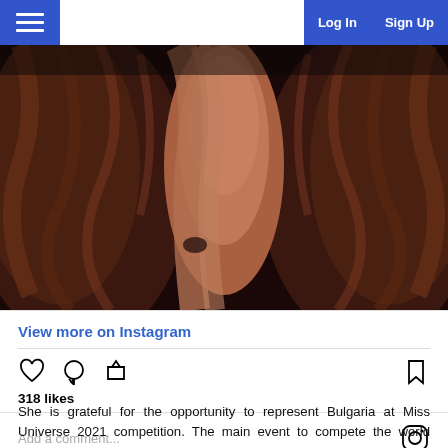Log In  Sign Up
[Figure (photo): Close-up photo of a woman with long, wavy dark brown hair. Her raised arm is visible between two sections of hair against a dark background.]
View more on Instagram
318 likes
Add a comment...
She is grateful for the opportunity to represent Bulgaria at Miss Universe 2021 competition. The main event to compete the world before